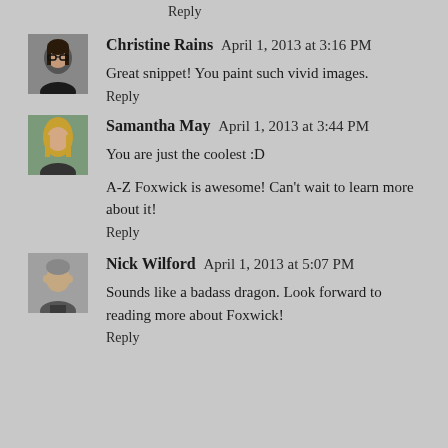Reply
[Figure (photo): Avatar photo of Christine Rains, a woman with glasses]
Christine Rains  April 1, 2013 at 3:16 PM
Great snippet! You paint such vivid images.
Reply
[Figure (photo): Avatar photo of Samantha May, a blonde woman]
Samantha May  April 1, 2013 at 3:44 PM
You are just the coolest :D
A-Z Foxwick is awesome! Can't wait to learn more about it!
Reply
[Figure (photo): Avatar photo of Nick Wilford, a man]
Nick Wilford  April 1, 2013 at 5:07 PM
Sounds like a badass dragon. Look forward to reading more about Foxwick!
Reply